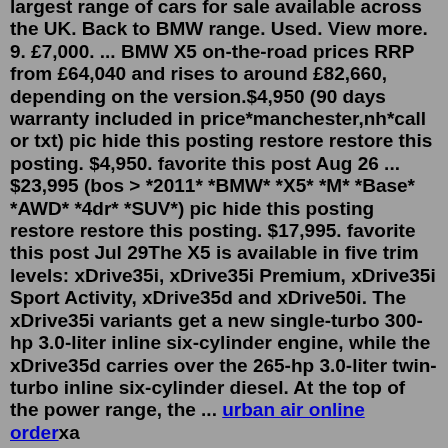BMW X5 cars available on Auto Trader, we have the largest range of cars for sale available across the UK. Back to BMW range. Used. View more. 9. £7,000. ... BMW X5 on-the-road prices RRP from £64,040 and rises to around £82,660, depending on the version.$4,950 (90 days warranty included in price*manchester,nh*call or txt) pic hide this posting restore restore this posting. $4,950. favorite this post Aug 26 ... $23,995 (bos > *2011* *BMW* *X5* *M* *Base* *AWD* *4dr* *SUV*) pic hide this posting restore restore this posting. $17,995. favorite this post Jul 29The X5 is available in five trim levels: xDrive35i, xDrive35i Premium, xDrive35i Sport Activity, xDrive35d and xDrive50i. The xDrive35i variants get a new single-turbo 300-hp 3.0-liter inline six-cylinder engine, while the xDrive35d carries over the 265-hp 3.0-liter twin-turbo inline six-cylinder diesel. At the top of the power range, the ... urban air online orderxa